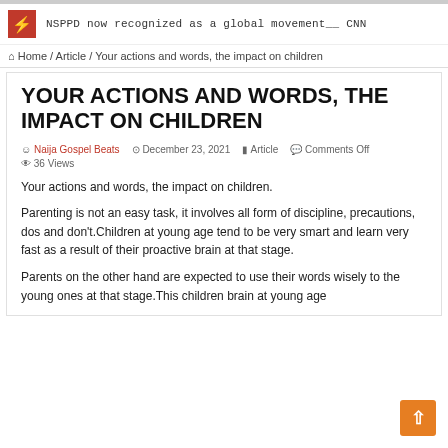NSPPD now recognized as a global movement__ CNN
Home / Article / Your actions and words, the impact on children
YOUR ACTIONS AND WORDS, THE IMPACT ON CHILDREN
Naija Gospel Beats  December 23, 2021  Article  Comments Off  36 Views
Your actions and words, the impact on children.
Parenting is not an easy task, it involves all form of discipline, precautions, dos and don't.Children at young age tend to be very smart and learn very fast as a result of their proactive brain at that stage.
Parents on the other hand are expected to use their words wisely to the young ones at that stage.This children brain at young age